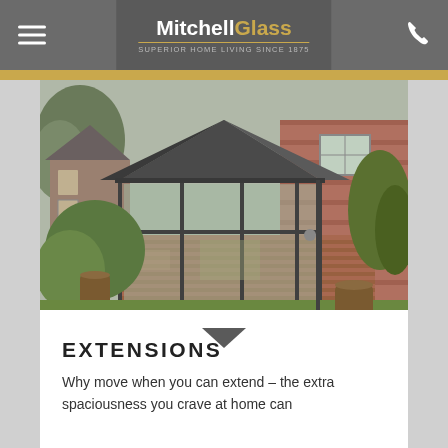MitchellGlass — SUPERIOR HOME LIVING SINCE 1875
[Figure (photo): Exterior photo of a brick-built glass extension with dark grey aluminium framing and a pitched slate roof, photographed from the garden on a cloudy day.]
EXTENSIONS
Why move when you can extend – the extra spaciousness you crave at home can